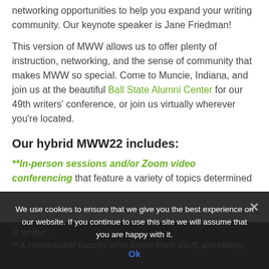networking opportunities to help you expand your writing community. Our keynote speaker is Jane Friedman!
This version of MWW allows us to offer plenty of instruction, networking, and the sense of community that makes MWW so special. Come to Muncie, Indiana, and join us at the beautiful Ball State Alumni Center for our 49th writers' conference, or join us virtually wherever you're located.
Our hybrid MWW22 includes:
**In-person sessions and/or Zoom video conferencing that feature a variety of topics determined
**A remarkable faculty who know their stuff, providing
We use cookies to ensure that we give you the best experience on our website. If you continue to use this site we will assume that you are happy with it.